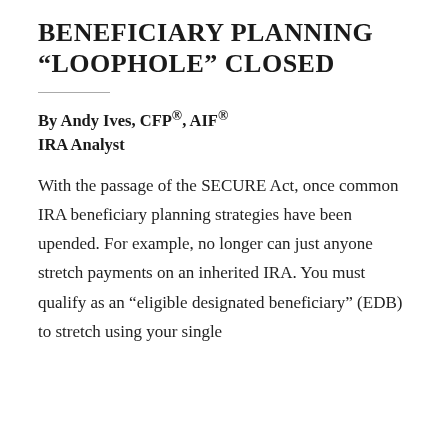BENEFICIARY PLANNING “LOOPHOLE” CLOSED
By Andy Ives, CFP®, AIF®
IRA Analyst
With the passage of the SECURE Act, once common IRA beneficiary planning strategies have been upended. For example, no longer can just anyone stretch payments on an inherited IRA. You must qualify as an “eligible designated beneficiary” (EDB) to stretch using your single